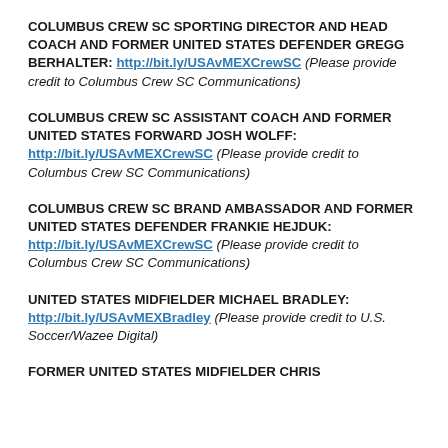COLUMBUS CREW SC SPORTING DIRECTOR AND HEAD COACH AND FORMER UNITED STATES DEFENDER GREGG BERHALTER: http://bit.ly/USAvMEXCrewSC (Please provide credit to Columbus Crew SC Communications)
COLUMBUS CREW SC ASSISTANT COACH AND FORMER UNITED STATES FORWARD JOSH WOLFF: http://bit.ly/USAvMEXCrewSC (Please provide credit to Columbus Crew SC Communications)
COLUMBUS CREW SC BRAND AMBASSADOR AND FORMER UNITED STATES DEFENDER FRANKIE HEJDUK: http://bit.ly/USAvMEXCrewSC (Please provide credit to Columbus Crew SC Communications)
UNITED STATES MIDFIELDER MICHAEL BRADLEY: http://bit.ly/USAvMEXBradley (Please provide credit to U.S. Soccer/Wazee Digital)
FORMER UNITED STATES MIDFIELDER CHRIS